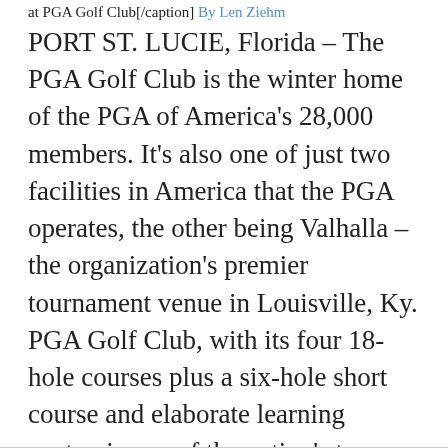at PGA Golf Club[/caption] By Len Ziehm
PORT ST. LUCIE, Florida – The PGA Golf Club is the winter home of the PGA of America's 28,000 members. It's also one of just two facilities in America that the PGA operates, the other being Valhalla – the organization's premier tournament venue in Louisville, Ky. PGA Golf Club, with its four 18-hole courses plus a six-hole short course and elaborate learning center, is one of the nation's top golf resorts. That's why this week's re-opening of its Dye Course will have an immediate impact on the game nation-wide. Visitors, both from all parts of the U.S. as well as other countries, will soon be arriving here with a new, most attractive playing option. (more...)